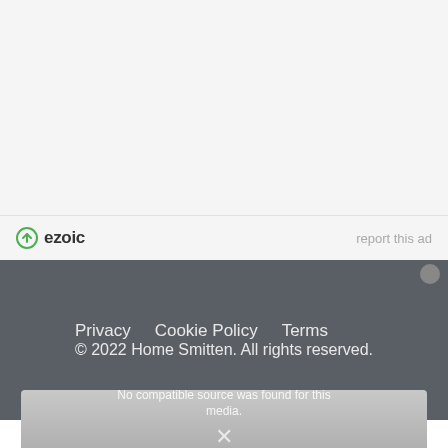[Figure (logo): Ezoic logo with green circular icon and bold text 'ezoic']
report this ad
Privacy   Cookie Policy   Terms
© 2022 Home Smitten. All rights reserved.
No compatible source was found for this media.